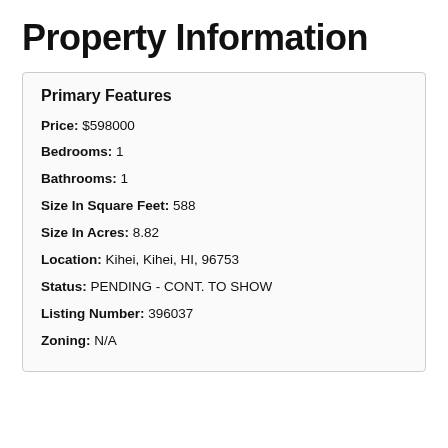Property Information
Primary Features
Price: $598000
Bedrooms: 1
Bathrooms: 1
Size In Square Feet: 588
Size In Acres: 8.82
Location: Kihei, Kihei, HI, 96753
Status: PENDING - CONT. TO SHOW
Listing Number: 396037
Zoning: N/A